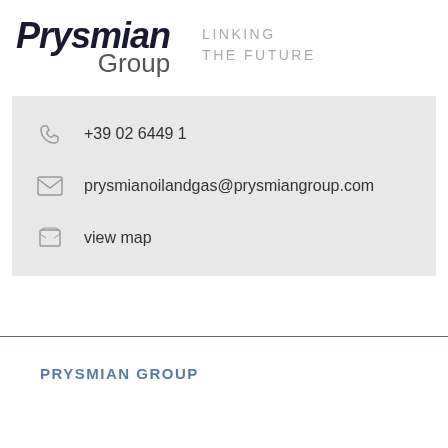[Figure (logo): Prysmian Group logo with italic bold 'Prysmian' and lighter 'Group' text, alongside tagline 'LINKING THE FUTURE' in grey spaced capitals]
+39 02 6449 1
prysmianoilandgas@prysmiangroup.com
view map
PRYSMIAN GROUP